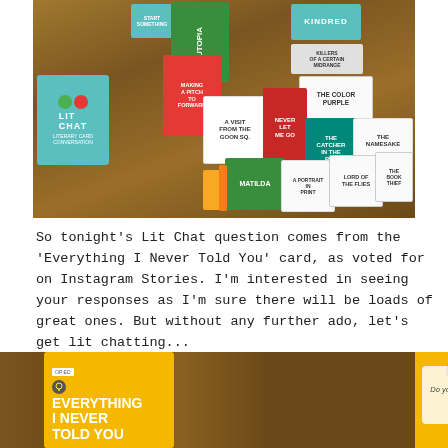[Figure (photo): Photo of Lit Chat card game box and spread of colorful book-themed cards on a wooden table. Cards include titles like Utopia, Kindred, The Color Purple, A Visit from the Goon Squad, Never Let Me Go, The Catcher in the Rye, The Namesake, Matilda, A Portrait of the Artist, Lord of the Flies, The Book Thief.]
So tonight's Lit Chat question comes from the 'Everything I Never Told You' card, as voted for on Instagram Stories. I'm interested in seeing your responses as I'm sure there will be loads of great ones. But without any further ado, let's get lit chatting...
[Figure (photo): Photo of the 'Everything I Never Told You' yellow Lit Chat card on the left showing bold title text, and on the right a question card reading 'Do you have a favorite book title? What do you like about it?']